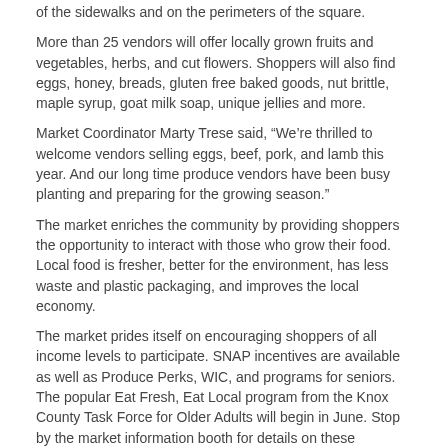of the sidewalks and on the perimeters of the square.
More than 25 vendors will offer locally grown fruits and vegetables, herbs, and cut flowers. Shoppers will also find eggs, honey, breads, gluten free baked goods, nut brittle, maple syrup, goat milk soap, unique jellies and more.
Market Coordinator Marty Trese said, “We’re thrilled to welcome vendors selling eggs, beef, pork, and lamb this year. And our long time produce vendors have been busy planting and preparing for the growing season.”
The market enriches the community by providing shoppers the opportunity to interact with those who grow their food.  Local food is fresher, better for the environment, has less waste and plastic packaging, and improves the local economy.
The market prides itself on encouraging shoppers of all income levels to participate. SNAP incentives are available as well as Produce Perks, WIC, and programs for seniors. The popular Eat Fresh, Eat Local program from the Knox County Task Force for Older Adults will begin in June. Stop by the market information booth for details on these incentive programs.
Parking will be available around the square and in nearby lots.
2022 vendors include:
Sue’s Herbs and Jellies	Eva Brisker	Glen Hill Orchard